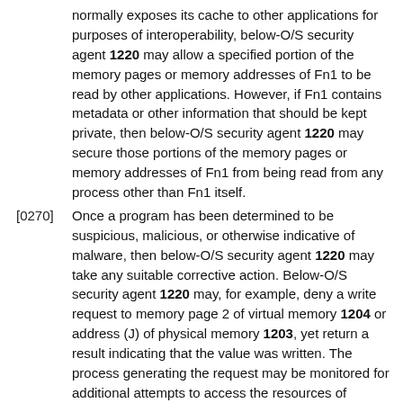normally exposes its cache to other applications for purposes of interoperability, below-O/S security agent 1220 may allow a specified portion of the memory pages or memory addresses of Fn1 to be read by other applications. However, if Fn1 contains metadata or other information that should be kept private, then below-O/S security agent 1220 may secure those portions of the memory pages or memory addresses of Fn1 from being read from any process other than Fn1 itself.
[0270] Once a program has been determined to be suspicious, malicious, or otherwise indicative of malware, then below-O/S security agent 1220 may take any suitable corrective action. Below-O/S security agent 1220 may, for example, deny a write request to memory page 2 of virtual memory 1204 or address (J) of physical memory 1203, yet return a result indicating that the value was written. The process generating the request may be monitored for additional attempts to access the resources of electronic device 1201, may be stopped, or may be cleaned from electronic